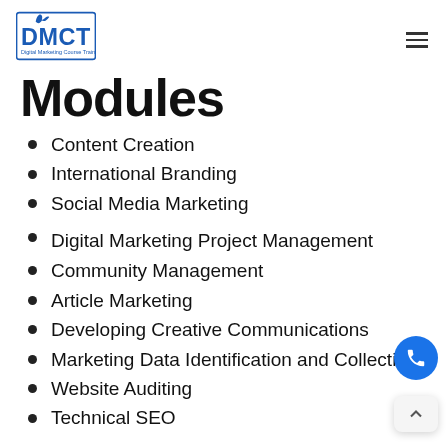DMCT Digital Marketing Course Training
Modules
Content Creation
International Branding
Social Media Marketing
Digital Marketing Project Management
Community Management
Article Marketing
Developing Creative Communications
Marketing Data Identification and Collection
Website Auditing
Technical SEO